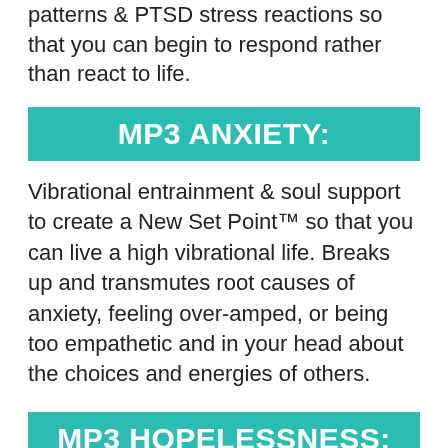patterns & PTSD stress reactions so that you can begin to respond rather than react to life.
MP3 ANXIETY:
Vibrational entrainment & soul support to create a New Set Point™ so that you can live a high vibrational life. Breaks up and transmutes root causes of anxiety, feeling over-amped, or being too empathetic and in your head about the choices and energies of others.
MP3 HOPELESSNESS:
Vibrational entrainment & soul